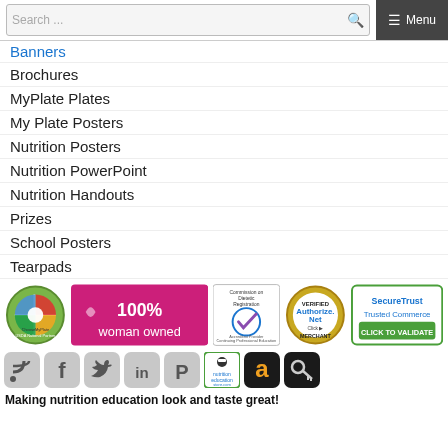Search ... Menu
Banners
Brochures
MyPlate Plates
My Plate Posters
Nutrition Posters
Nutrition PowerPoint
Nutrition Handouts
Prizes
School Posters
Tearpads
[Figure (logo): Trust badges row: MyPlate USDA National Partner logo, 100% woman owned pink badge, Commission on Dietetic Registration Accredited Provider badge, Authorize.Net Verified Merchant badge, SecureTrust Trusted Commerce badge]
[Figure (illustration): Social media icons row: RSS, Facebook, Twitter, LinkedIn, Pinterest, Nutrition Education Store, Amazon, Key/login icon]
Making nutrition education look and taste great!